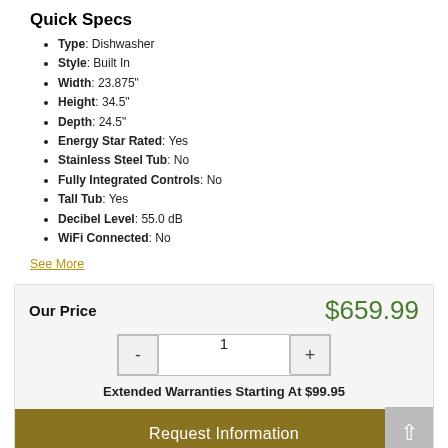Quick Specs
Type: Dishwasher
Style: Built In
Width: 23.875"
Height: 34.5"
Depth: 24.5"
Energy Star Rated: Yes
Stainless Steel Tub: No
Fully Integrated Controls: No
Tall Tub: Yes
Decibel Level: 55.0 dB
WiFi Connected: No
See More
Our Price   $659.99
Extended Warranties Starting At $99.95
Request Information